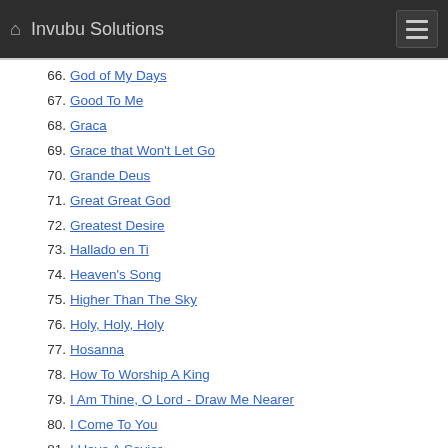Invubu Solutions
66. God of My Days
67. Good To Me
68. Graca
69. Grace that Won't Let Go
70. Grande Deus
71. Great Great God
72. Greatest Desire
73. Hallado en Ti
74. Heaven's Song
75. Higher Than The Sky
76. Holy, Holy, Holy
77. Hosanna
78. How To Worship A King
79. I Am Thine, O Lord - Draw Me Nearer
80. I Come To You
81. I Have A Savior
82. I Hear The Lord Passing By
83. In The Shadow